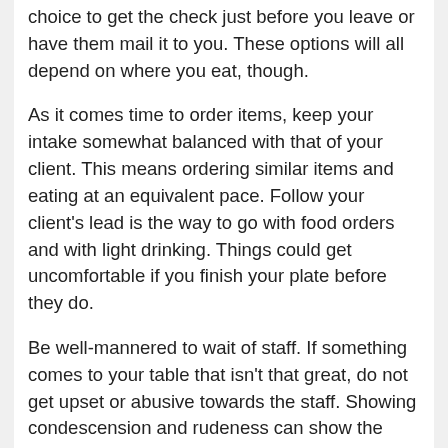choice to get the check just before you leave or have them mail it to you. These options will all depend on where you eat, though.
As it comes time to order items, keep your intake somewhat balanced with that of your client. This means ordering similar items and eating at an equivalent pace. Follow your client's lead is the way to go with food orders and with light drinking. Things could get uncomfortable if you finish your plate before they do.
Be well-mannered to wait of staff. If something comes to your table that isn't that great, do not get upset or abusive towards the staff. Showing condescension and rudeness can show the client that this is how it is to work with you.
Adding some small talk in with the business talk while you eat can help you get to know or reconnect with each other individually. They will be also examining to see if you dominate small talk or if you listen well. Any major business talk is best reserved for the main course where